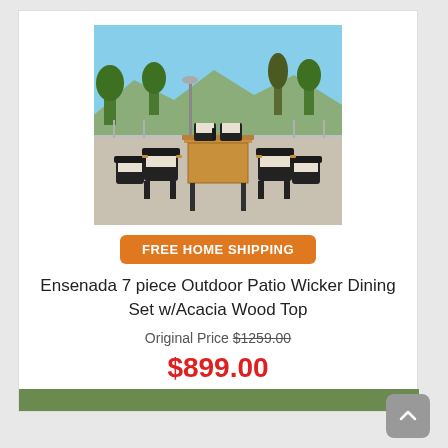[Figure (photo): Outdoor patio dining set with wicker chairs and acacia wood table top on a terrace with trees and mountains in background]
FREE HOME SHIPPING
Ensenada 7 piece Outdoor Patio Wicker Dining Set w/Acacia Wood Top
Original Price $1259.00
$899.00
(save 29%)